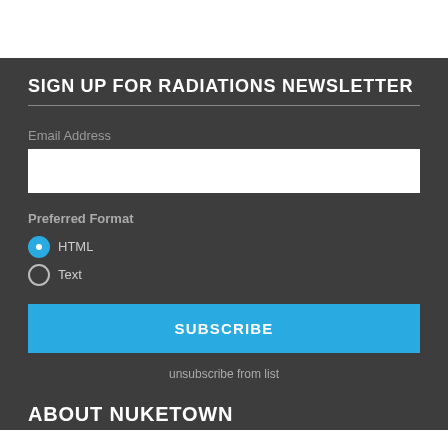SIGN UP FOR RADIATIONS NEWSLETTER
Email Address
Preferred Format
HTML
Text
SUBSCRIBE
unsubscribe from list
ABOUT NUKETOWN